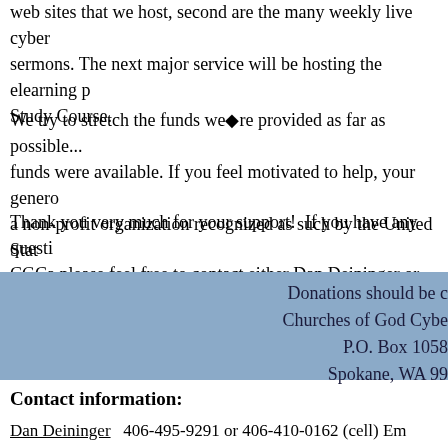web sites that we host, second are the many weekly live cyber sermons. The next major service will be hosting the elearning p Study Course.
We try to stretch the funds we're provided as far as possible... funds were available. If you feel motivated to help, your generosity a non-profit organization recognized as such by the United States
Thank you very much for your support!  If you have any questions about CGCa please feel free to contact either Dan Deininger or Allen
Donations should be c
Churches of God Cybe
P.O. Box 1058
Spokane, WA 99
Contact information:
Dan Deininger  406-495-9291 or 406-410-0162 (cell) Ema
Allen Hirst  509-489-7479 Email: allenhirst@hotmail.com
Financial contributions may b
Churches of God Cyber A
P.O. Box 10583
Spokane, WA 99200